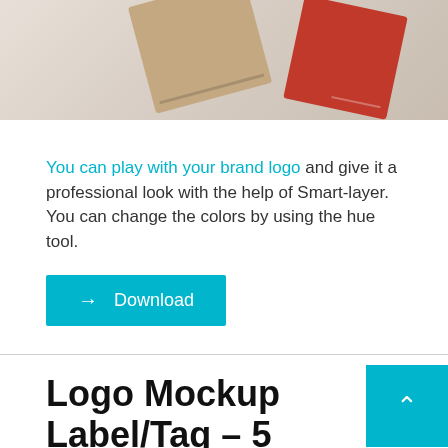[Figure (photo): Top portion of a photo showing notebooks/notepads — one tan/kraft colored and one red — on a light grey background]
You can play with your brand logo and give it a professional look with the help of Smart-layer. You can change the colors by using the hue tool.
→ Download
Logo Mockup Label/Tag – 5 Styles
[Figure (photo): Bottom cropped portion of a product/mockup photo on a light background]